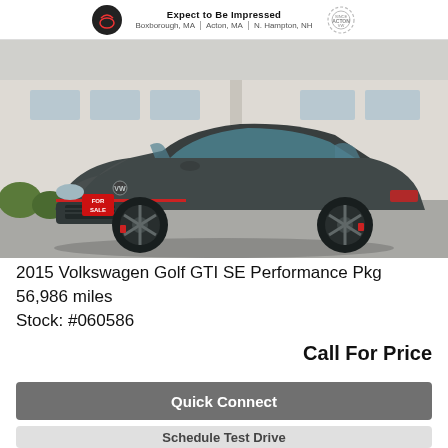Expect to Be Impressed | Boxborough, MA | Acton, MA | N. Hampton, NH
[Figure (photo): A dark gray 2015 Volkswagen Golf GTI SE with a red 'FOR SALE' sign on the front grille, parked in front of a dealership building. A red classic car is partially visible in the background.]
2015 Volkswagen Golf GTI SE Performance Pkg
56,986 miles
Stock: #060586
Call For Price
Quick Connect
Schedule Test Drive